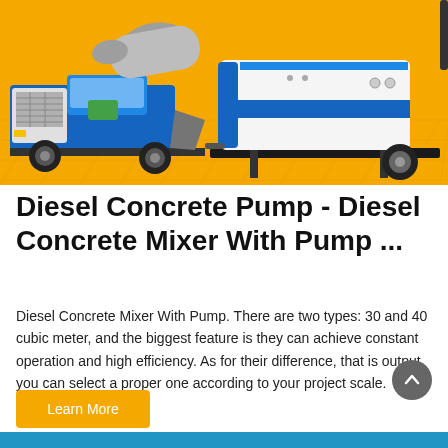[Figure (photo): A blue diesel concrete mixer truck with a rotating drum on the left, connected to a white and blue concrete pump trailer on the right, both on an orange/yellow background.]
Diesel Concrete Pump - Diesel Concrete Mixer With Pump ...
Diesel Concrete Mixer With Pump. There are two types: 30 and 40 cubic meter, and the biggest feature is they can achieve constant operation and high efficiency. As for their difference, that is output, you can select a proper one according to your project scale. ABJZ30C ...
Learn More